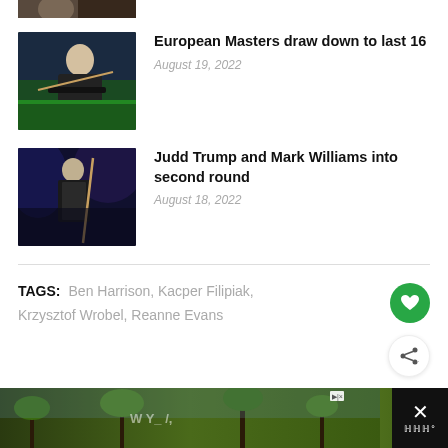[Figure (photo): Partial snooker player photo at top, cropped]
[Figure (photo): Snooker player leaning over table with cue, green table, blue background]
European Masters draw down to last 16
August 19, 2022
[Figure (photo): Snooker player in dark waistcoat holding cue, dark blue background]
Judd Trump and Mark Williams into second round
August 18, 2022
TAGS: Ben Harrison, Kacper Filipiak, Krzysztof Wrobel, Reanne Evans